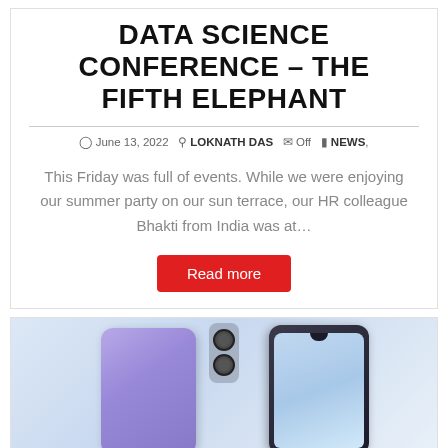DATA SCIENCE CONFERENCE – THE FIFTH ELEPHANT
June 13, 2022  LOKNATH DAS  Off  NEWS,
This Friday was full of events. While we were enjoying our summer party on our sun terrace, our HR colleague Bhakti from India was at…
Read more
[Figure (photo): Two smartphones shown — one from the back (purple/blue with dual cameras) and one from the front (dark with teardrop notch and blue screen background)]